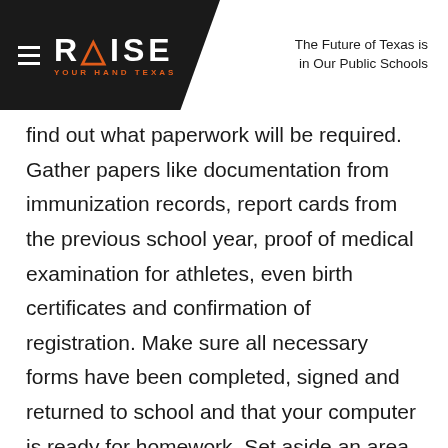RAISE YOUR HAND TEXAS | The Future of Texas is in Our Public Schools
find out what paperwork will be required. Gather papers like documentation from immunization records, report cards from the previous school year, proof of medical examination for athletes, even birth certificates and confirmation of registration. Make sure all necessary forms have been completed, signed and returned to school and that your computer is ready for homework. Set aside an area for school newsletters, notices and other important papers and communications and make sure there’s a comfortable, quiet, well-lighted place in the house for studying and homework. Try getting in touch with teachers before school starts to get a sense of what supplies or